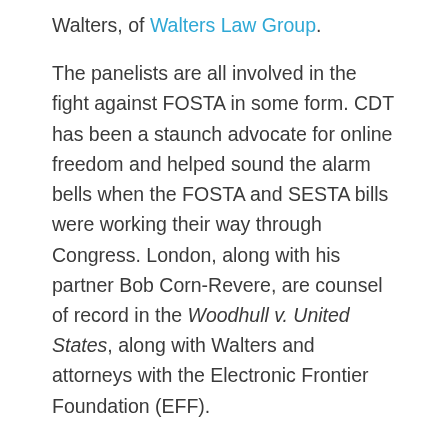Walters, of Walters Law Group.
The panelists are all involved in the fight against FOSTA in some form. CDT has been a staunch advocate for online freedom and helped sound the alarm bells when the FOSTA and SESTA bills were working their way through Congress. London, along with his partner Bob Corn-Revere, are counsel of record in the Woodhull v. United States, along with Walters and attorneys with the Electronic Frontier Foundation (EFF).
The FOSTA panel lasted over 90 minutes and provided a full update on how FOSTA has harmed sex workers, hampered law enforcement, and stifled online innovation. Llansó described how